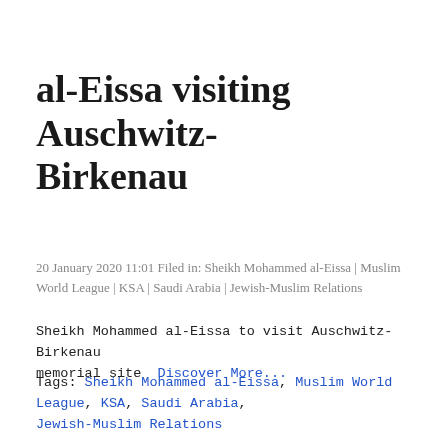al-Eissa visiting Auschwitz-Birkenau
20 January 2020 11:01 Filed in: Sheikh Mohammed al-Eissa | Muslim World League | KSA | Saudi Arabia | Jewish-Muslim Relations
Sheikh Mohammed al-Eissa to visit Auschwitz-Birkenau memorial site  Discover More...
Tags: Sheikh Mohammed al-Eissa, Muslim World League, KSA, Saudi Arabia, Jewish-Muslim Relations